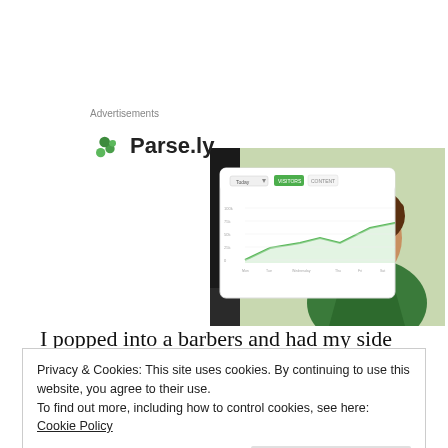Advertisements
[Figure (logo): Parse.ly logo with green leaf/plant icon and bold text 'Parse.ly']
[Figure (screenshot): Advertisement image showing a Parse.ly analytics dashboard screenshot overlaid on a photo of a smiling woman in a green top outdoors]
I popped into a barbers and had my side burns trimmed. No charge said the barber! Back at the hotel I booked all the remaining hotels to the end of the trip and then we
Privacy & Cookies: This site uses cookies. By continuing to use this website, you agree to their use.
To find out more, including how to control cookies, see here: Cookie Policy
We dropped the bike back and headed into Porto.